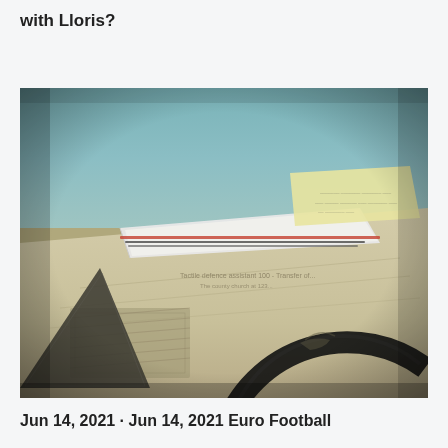with Lloris?
[Figure (photo): Close-up photograph of a drafting/engineering table with maps, drawing instruments including a large protractor/set square, pencils, and a yellow card or label in the background. Blurred teal/blue background.]
Jun 14, 2021 · Jun 14, 2021 Euro Football